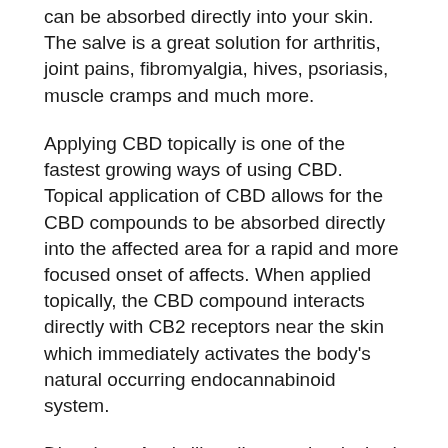can be absorbed directly into your skin. The salve is a great solution for arthritis, joint pains, fibromyalgia, hives, psoriasis, muscle cramps and much more.
Applying CBD topically is one of the fastest growing ways of using CBD. Topical application of CBD allows for the CBD compounds to be absorbed directly into the affected area for a rapid and more focused onset of affects. When applied topically, the CBD compound interacts directly with CB2 receptors near the skin which immediately activates the body's natural occurring endocannabinoid system.
Directions: Apply liberally over the desired area and gently massage into the skin until completely absorbed for rapid and maximum